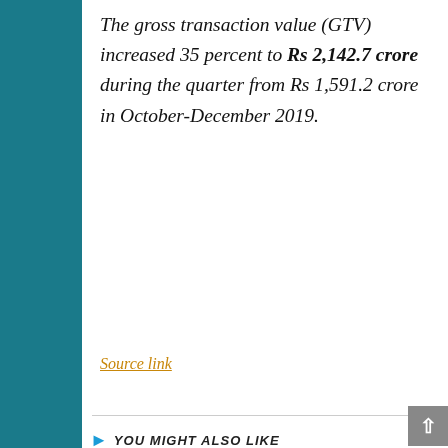The gross transaction value (GTV) increased 35 percent to Rs 2,142.7 crore during the quarter from Rs 1,591.2 crore in October-December 2019.
Source link
YOU MIGHT ALSO LIKE
[Figure (photo): Red gradient image partially visible at the bottom of the page]